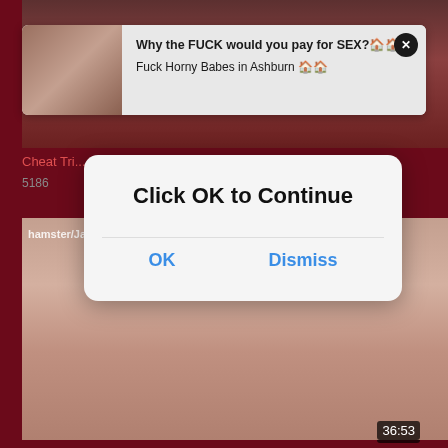[Figure (screenshot): Adult video website screenshot with top video thumbnail showing a person]
Why the FUCK would you pay for SEX?🏠🏠
Fuck Horny Babes in Ashburn 🏠🏠
26:37
Cheat Tri... [video title partially visible] ...al
5186
[Figure (screenshot): Adult video website second thumbnail showing explicit content]
hamster/JasonNoun4din
36:53
Click OK to Continue
OK
Dismiss